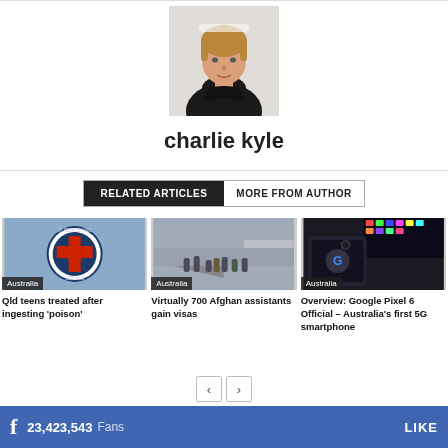[Figure (photo): Headshot photo of a young man with light brown hair wearing a dark polo shirt against a white background]
charlie kyle
RELATED ARTICLES | MORE FROM AUTHOR
[Figure (photo): Queensland Ambulance Service badge/logo on a uniform shirt]
Australia
Qld teens treated after ingesting 'poison'
[Figure (photo): Military personnel loading or unloading from a large transport aircraft]
Australia
Virtually 700 Afghan assistants gain visas
[Figure (photo): Google Pixel 6 smartphone on a desk next to a colorful gaming keyboard]
Australia
Overview: Google Pixel 6 Official – Australia's first 5G smartphone
23,423,543  Fans
LIKE